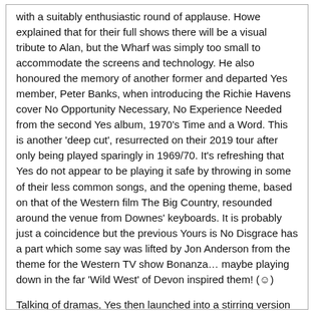with a suitably enthusiastic round of applause. Howe explained that for their full shows there will be a visual tribute to Alan, but the Wharf was simply too small to accommodate the screens and technology. He also honoured the memory of another former and departed Yes member, Peter Banks, when introducing the Richie Havens cover No Opportunity Necessary, No Experience Needed from the second Yes album, 1970's Time and a Word. This is another 'deep cut', resurrected on their 2019 tour after only being played sparingly in 1969/70. It's refreshing that Yes do not appear to be playing it safe by throwing in some of their less common songs, and the opening theme, based on that of the Western film The Big Country, resounded around the venue from Downes' keyboards. It is probably just a coincidence but the previous Yours is No Disgrace has a part which some say was lifted by Jon Anderson from the theme for the Western TV show Bonanza… maybe playing down in the far 'Wild West' of Devon inspired them! (☺)
Talking of dramas, Yes then launched into a stirring version of Does it Really Happen? from the 1980 Drama album, featuring some great bass from Billy Sherwood, prowling around the stage like a gunslinger walking into the saloon and owning the venue. Less assured were some wandering keyboard parts from Downes, but this was a 'warm-up' gig after all so it was never going to be perfect. The arrival on stage of Howe's mandolin indicated the appearance of UK hit Wonderous Stories, from the classic 1977 Going for the